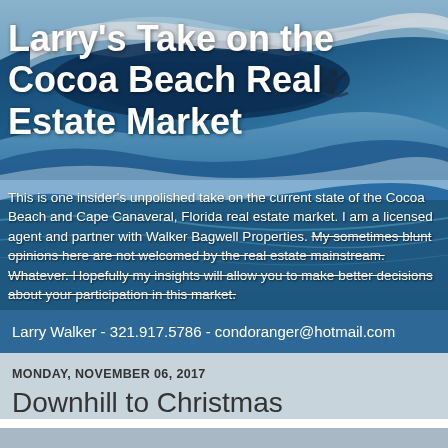[Figure (photo): Ocean wave with surfer background image (blue ocean wave forming a barrel, with a surfer silhouette visible)]
Larry's Take on the Cocoa Beach Real Estate Market
This is one insider's unpolished take on the current state of the Cocoa Beach and Cape Canaveral, Florida real estate market. I am a licensed agent and partner with Walker Bagwell Properties. My sometimes blunt opinions here are not welcomed by the real estate mainstream. Whatever. Hopefully my insights will allow you to make better decisions about your participation in this market.
Larry Walker - 321.917.5786 - condoranger@hotmail.com
MONDAY, NOVEMBER 06, 2017
Downhill to Christmas